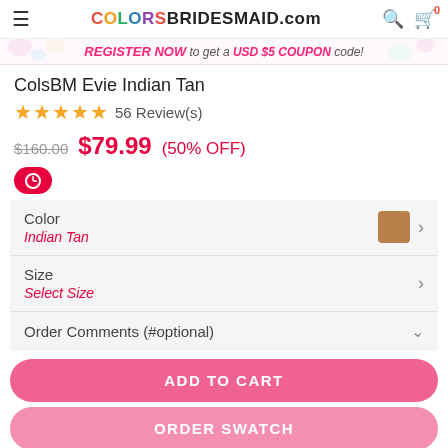COLORSBRIDESMAID.com
REGISTER NOW to get a USD $5 COUPON code!
ColsBM Evie Indian Tan
★★★★★ 56 Review(s)
$160.00  $79.99 (50% OFF)
Color
Indian Tan
Size
Select Size
Order Comments (#optional)
ADD TO CART
ORDER SWATCH